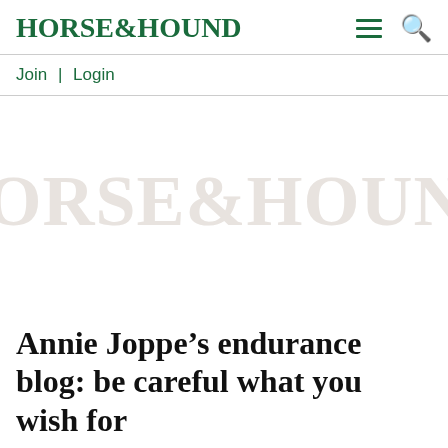HORSE&HOUND
Join | Login
[Figure (logo): Horse & Hound watermark logo in light grey/beige, large serif font, displayed as a background watermark image in the content area]
Annie Joppe’s endurance blog: be careful what you wish for